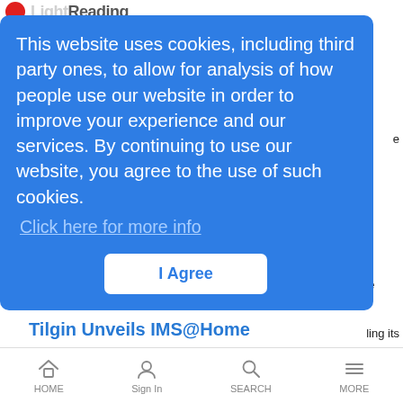Light Reading
This website uses cookies, including third party ones, to allow for analysis of how people use our website in order to improve your experience and our services. By continuing to use our website, you agree to the use of such cookies.
Click here for more info
I Agree
ling its
Motorola is displaying its wide range of broadband solutions for the home, enterprise, metropolitan, and mobile environments
Tilgin Unveils IMS@Home
News Wire Feed | 10/9/2006
Tilgin announced the launch of a new platform for IP Multimedia Services IMS
HOME  Sign In  SEARCH  MORE